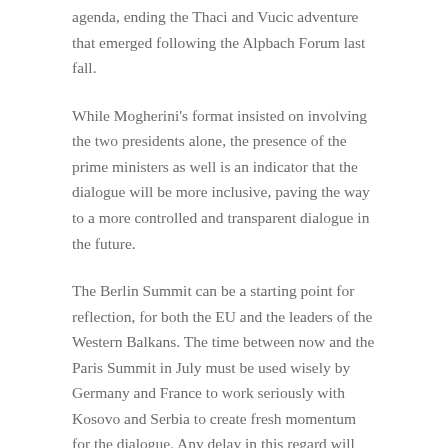agenda, ending the Thaci and Vucic adventure that emerged following the Alpbach Forum last fall.
While Mogherini's format insisted on involving the two presidents alone, the presence of the prime ministers as well is an indicator that the dialogue will be more inclusive, paving the way to a more controlled and transparent dialogue in the future.
The Berlin Summit can be a starting point for reflection, for both the EU and the leaders of the Western Balkans. The time between now and the Paris Summit in July must be used wisely by Germany and France to work seriously with Kosovo and Serbia to create fresh momentum for the dialogue. Any delay in this regard will create favorable conditions for other external influencers in the process.